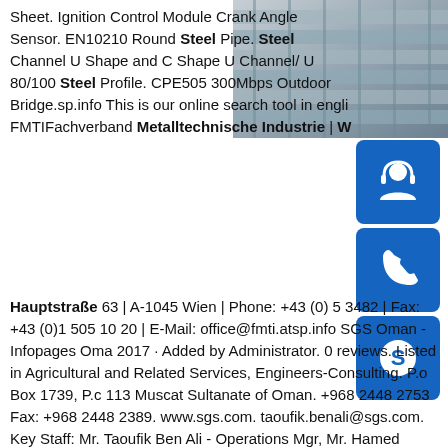[Figure (photo): Close-up photo of steel channel/U-shaped steel profiles stacked together, gray metallic color]
[Figure (infographic): Three blue square buttons with white icons: headset/customer support, phone, and Skype logo]
Sheet. Ignition Control Module Crank Angle Sensor. EN10210 Round Steel Pipe. Steel Channel U Shape and C Shape U Channel/ U 80/100 Steel Profile. CPE505 300Mbps Outdoor Bridge.sp.info This is our online search tool in english FMTIFachverband Metalltechnische Industrie | W Hauptstraße 63 | A-1045 Wien | Phone: +43 (0) 5 3482 | Fax: +43 (0)1 505 10 20 | E-Mail: office@fmti.atsp.info SGS Oman - Infopages Oman 2017 · Added by Administrator. 0 reviews. Listed in Agricultural and Related Services, Engineers-Consulting. P.o Box 1739, P.c 113 Muscat Sultanate of Oman. +968 2448 2753 Fax: +968 2448 2389. www.sgs.com. taoufik.benali@sgs.com. Key Staff: Mr. Taoufik Ben Ali - Operations Mgr, Mr. Hamed Kharusi - Country Mgr, Mr. Msellem Asheibany - Upstream Mgr.sp.info Aluminum Composite Panel (ACP) Cladding Archives ...Aug 02, 2017 · Add to Favorites. +968 2698 2654 / 0032 1802 Fax